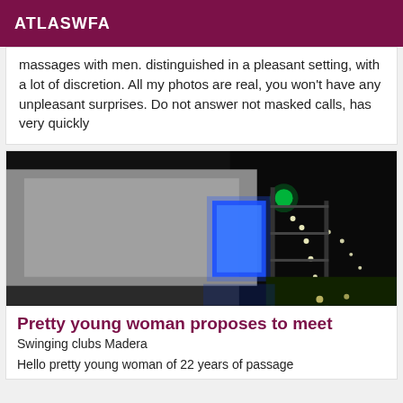ATLASWFA
massages with men. distinguished in a pleasant setting, with a lot of discretion. All my photos are real, you won't have any unpleasant surprises. Do not answer not masked calls, has very quickly
[Figure (photo): Nighttime photo of a building exterior with illuminated blue panels and string lights along a fence or wall, dark background]
Pretty young woman proposes to meet
Swinging clubs Madera
Hello pretty young woman of 22 years of passage